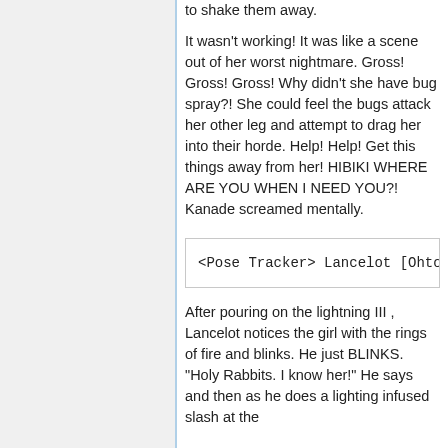to shake them away.
It wasn't working! It was like a scene out of her worst nightmare. Gross! Gross! Gross! Why didn't she have bug spray?! She could feel the bugs attack her other leg and attempt to drag her into their horde. Help! Help! Get this things away from her! HIBIKI WHERE ARE YOU WHEN I NEED YOU?! Kanade screamed mentally.
<Pose Tracker> Lancelot [Ohtori
After pouring on the lightning III , Lancelot notices the girl with the rings of fire and blinks. He just BLINKS. "Holy Rabbits. I know her!" He says and then as he does a lighting infused slash at the